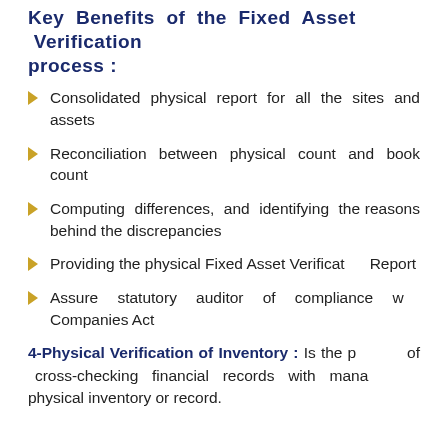Key Benefits of the Fixed Asset Verification process:
Consolidated physical report for all the sites and assets
Reconciliation between physical count and book count
Computing differences, and identifying the reasons behind the discrepancies
Providing the physical Fixed Asset Verification Report
Assure statutory auditor of compliance with Companies Act
4-Physical Verification of Inventory: Is the process of cross-checking financial records with management physical inventory or record.